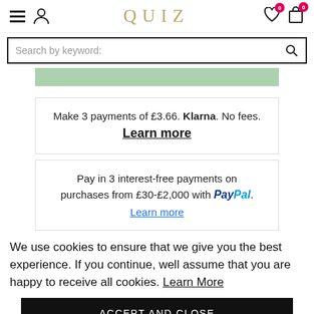QUIZ — navigation header with hamburger menu, profile icon, wishlist (0), and bag (0)
Search by keyword:
[Figure (screenshot): Partially visible green banner/image strip]
Make 3 payments of £3.66. Klarna. No fees. Learn more
Pay in 3 interest-free payments on purchases from £30-£2,000 with PayPal. Learn more
We use cookies to ensure that we give you the best experience. If you continue, well assume that you are happy to receive all cookies. Learn More
ACCEPT AND CLOSE